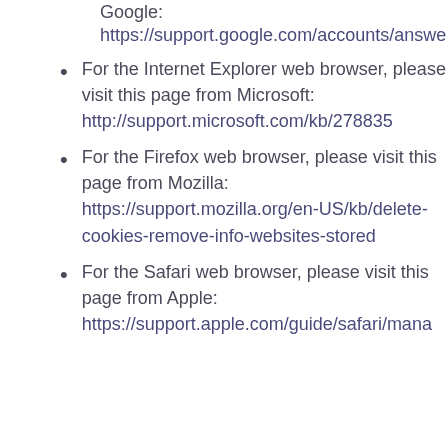Google:
https://support.google.com/accounts/answe
For the Internet Explorer web browser, please visit this page from Microsoft: http://support.microsoft.com/kb/278835
For the Firefox web browser, please visit this page from Mozilla: https://support.mozilla.org/en-US/kb/delete-cookies-remove-info-websites-stored
For the Safari web browser, please visit this page from Apple: https://support.apple.com/guide/safari/mana